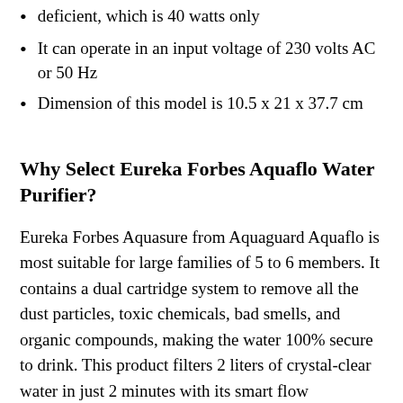deficient, which is 40 watts only
It can operate in an input voltage of 230 volts AC or 50 Hz
Dimension of this model is 10.5 x 21 x 37.7 cm
Why Select Eureka Forbes Aquaflo Water Purifier?
Eureka Forbes Aquasure from Aquaguard Aquaflo is most suitable for large families of 5 to 6 members. It contains a dual cartridge system to remove all the dust particles, toxic chemicals, bad smells, and organic compounds, making the water 100% secure to drink. This product filters 2 liters of crystal-clear water in just 2 minutes with its smart flow technology.